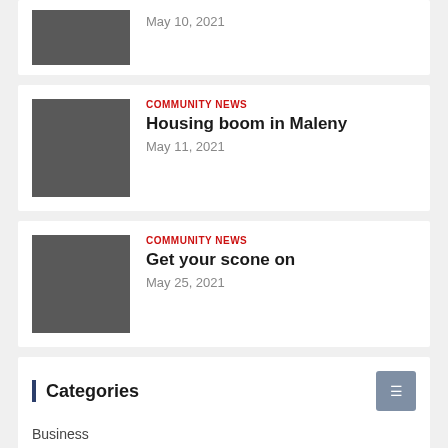[Figure (photo): Gray placeholder thumbnail image for article dated May 10, 2021]
May 10, 2021
COMMUNITY NEWS
Housing boom in Maleny
May 11, 2021
COMMUNITY NEWS
Get your scone on
May 25, 2021
Categories
Business
Community News
Families